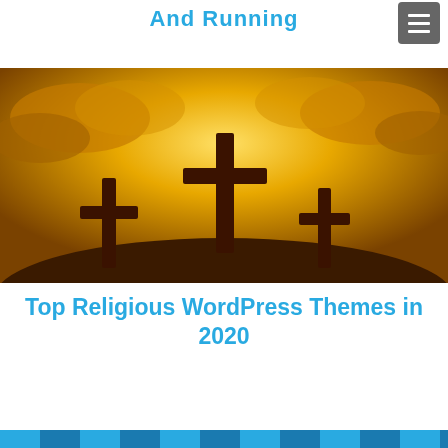And Running
[Figure (photo): Three wooden crosses silhouetted against a dramatic golden/amber sky with clouds — a religious imagery photo]
Top Religious WordPress Themes in 2020